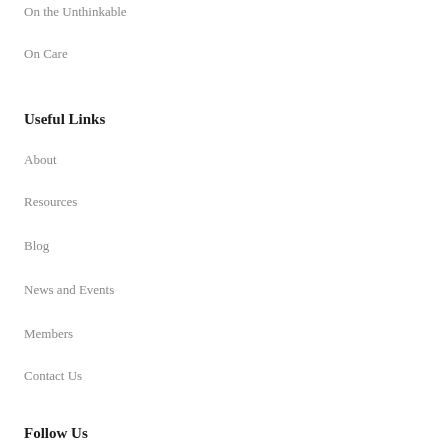On the Unthinkable
On Care
Useful Links
About
Resources
Blog
News and Events
Members
Contact Us
Follow Us